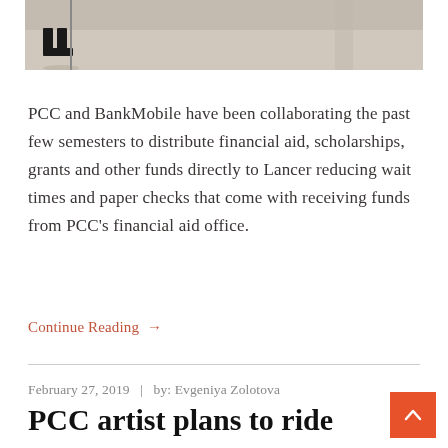[Figure (photo): Bottom portion of a photo showing feet and lower legs of a person standing, with a light gray/beige floor background.]
PCC and BankMobile have been collaborating the past few semesters to distribute financial aid, scholarships, grants and other funds directly to Lancer reducing wait times and paper checks that come with receiving funds from PCC’s financial aid office.
Continue Reading →
February 27, 2019  |  by: Evgeniya Zolotova
PCC artist plans to ride across the pond